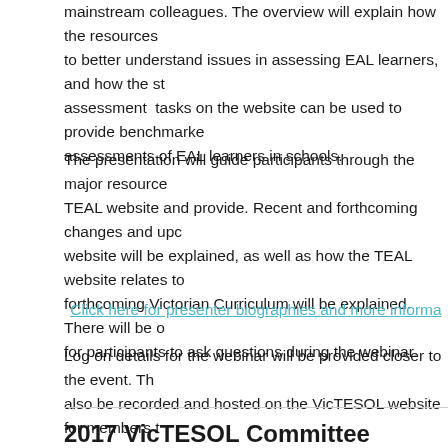mainstream colleagues. The overview will explain how the resources to better understand issues in assessing EAL learners, and how the assessment tasks on the website can be used to provide benchmarked assessments of EAL learners in schools.
The presentation will guide participants through the major resources TEAL website and provide. Recent and forthcoming changes and updates website will be explained, as well as how the TEAL website relates to forthcoming Victorian Curriculum will be explained. There will be opportunity for participants to ask questions during the webinar.
Click here for presenter biographies and more information
Log on details for the webinar will be provided closer to the event. The webinar will also be recorded and hosted on the VicTESOL website for members to
2017 VicTESOL Committee